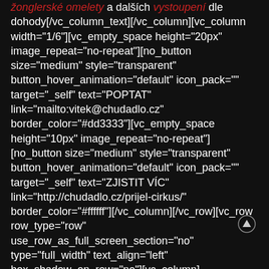žonglerské omelety a dalších vystoupení dle dohody[/vc_column_text][/vc_column][vc_column width="1/6"][vc_empty_space height="20px" image_repeat="no-repeat"][no_button size="medium" style="transparent" button_hover_animation="default" icon_pack="" target="_self" text="POPTAT" link="mailto:vitek@chudadlo.cz" border_color="#dd3333"][vc_empty_space height="10px" image_repeat="no-repeat"][no_button size="medium" style="transparent" button_hover_animation="default" icon_pack="" target="_self" text="ZJISTIT VÍC" link="http://chudadlo.cz/prijel-cirkus/" border_color="#ffffff"][/vc_column][/vc_row][vc_row row_type="row" use_row_as_full_screen_section="no" type="full_width" text_align="left" box_shadow_on_row="no"][vc_column] [vc_empty_space image_repeat="no-repeat"]